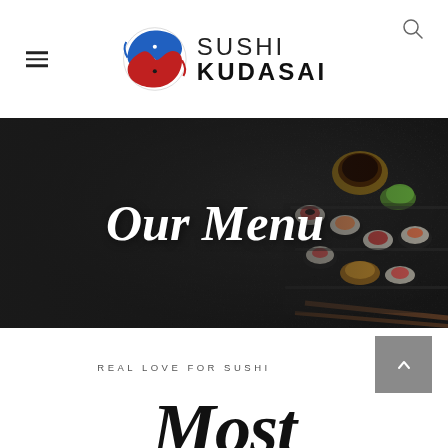[Figure (logo): Sushi Kudasai logo: stylized fish yin-yang symbol in blue and red with text SUSHI KUDASAI]
[Figure (photo): Dark textured background with sushi platter on the right side, featuring various sushi rolls, nigiri, and condiments]
Our Menu
REAL LOVE FOR SUSHI
Most